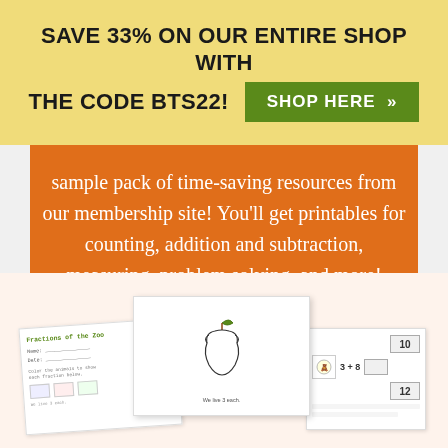SAVE 33% ON OUR ENTIRE SHOP WITH THE CODE BTS22! SHOP HERE »
sample pack of time-saving resources from our membership site! You'll get printables for counting, addition and subtraction, measuring, problem solving, and more!
[Figure (illustration): Three overlapping worksheet/printable cards at bottom of page showing math and literacy worksheets including a Fractions of the Zoo worksheet, an apple coloring page, and a math addition card with numbers 3+8 and number references 10, 12]